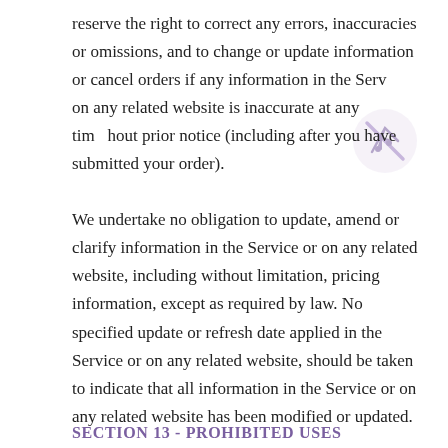reserve the right to correct any errors, inaccuracies or omissions, and to change or update information or cancel orders if any information in the Service or on any related website is inaccurate at any time without prior notice (including after you have submitted your order).
We undertake no obligation to update, amend or clarify information in the Service or on any related website, including without limitation, pricing information, except as required by law. No specified update or refresh date applied in the Service or on any related website, should be taken to indicate that all information in the Service or on any related website has been modified or updated.
SECTION 13 - PROHIBITED USES